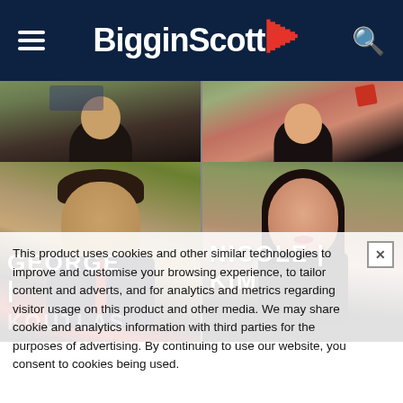BigginScott
[Figure (photo): Two profile photos partially visible at top row]
[Figure (photo): George | Koutlas agent photo with name overlay]
[Figure (photo): Nicole | Kim agent photo with name overlay]
This product uses cookies and other similar technologies to improve and customise your browsing experience, to tailor content and adverts, and for analytics and metrics regarding visitor usage on this product and other media. We may share cookie and analytics information with third parties for the purposes of advertising. By continuing to use our website, you consent to cookies being used.